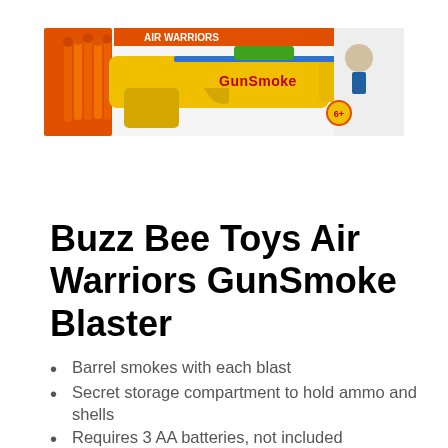[Figure (photo): Product photo of Buzz Bee Toys Air Warriors GunSmoke Blaster in its retail box packaging, showing a yellow foam dart blaster with orange accents and the GunSmoke branding on the box.]
Buzz Bee Toys Air Warriors GunSmoke Blaster
Barrel smokes with each blast
Secret storage compartment to hold ammo and shells
Requires 3 AA batteries, not included
Includes a blaster, 4 soft foam suction darts with shells and a self-contained GunSmoke cartridge
Recommended for children 6 years of age and older